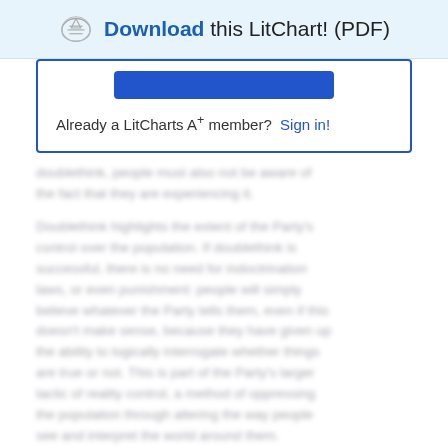Download this LitChart! (PDF)
Already a LitCharts A+ member?  Sign in!
doublethink, people must also not be aware of the fact that they are experiencing it. Doublethink highlights the extent of the Party's control over the population. If doublethink is successful, there is no need for indoctrination laws, or even punishment: people will simply believe whatever the Party tells them, even if this doesn't make sense, because they have given up the ability to logically interrogate whether things are true or not. This is part of the Party's larger tactic of reality control, a method of oppressing the population through altering the way people see and interpret the world around them.